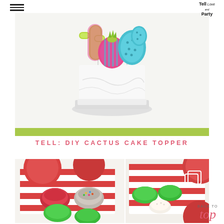Tell Love and Party — hamburger menu and logo
[Figure (photo): White frosted layer cake on a cake stand with colorful paper cactus cake toppers — pink, green, and teal cactus shapes — on a light background with green surface]
TELL: DIY CACTUS CAKE TOPPER
[Figure (photo): Overhead view of Christmas cookie decorating scene with red and white striped napkins, red and pink plates, bowls of sprinkles and sugar, green frosted cactus-shaped cookies, and plain sugar cookies on a white surface]
BACK TO top